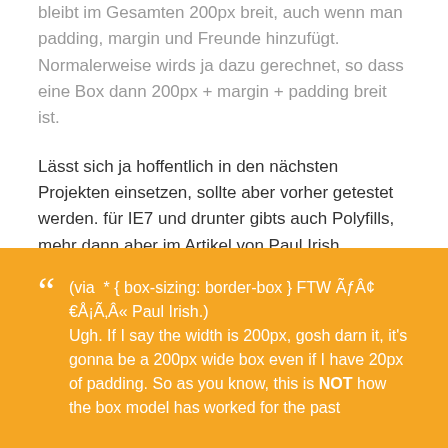bleibt im Gesamten 200px breit, auch wenn man padding, margin und Freunde hinzufügt. Normalerweise wirds ja dazu gerechnet, so dass eine Box dann 200px + margin + padding breit ist.
Lässt sich ja hoffentlich in den nächsten Projekten einsetzen, sollte aber vorher getestet werden. für IE7 und drunter gibts auch Polyfills, mehr dann aber im Artikel von Paul Irish.
(via * { box-sizing: border-box } FTW Ãƒâ€šÃ‚« Paul Irish.) Ugh. If I say the width is 200px, gosh darn it, it's gonna be a 200px wide box even if I have 20px of padding. So as you know, this is NOT how the box model has worked for the past